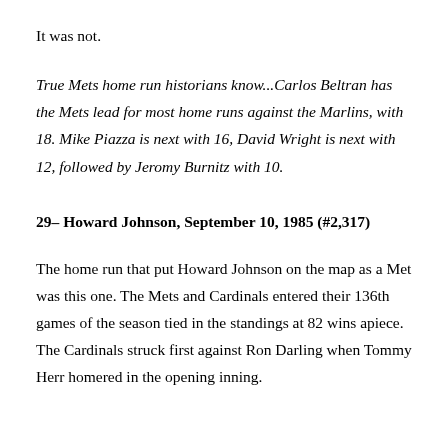It was not.
True Mets home run historians know...Carlos Beltran has the Mets lead for most home runs against the Marlins, with 18. Mike Piazza is next with 16, David Wright is next with 12, followed by Jeromy Burnitz with 10.
29– Howard Johnson, September 10, 1985 (#2,317)
The home run that put Howard Johnson on the map as a Met was this one. The Mets and Cardinals entered their 136th games of the season tied in the standings at 82 wins apiece. The Cardinals struck first against Ron Darling when Tommy Herr homered in the opening inning.